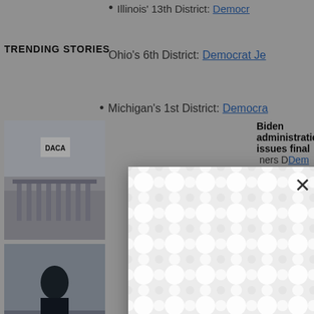Illinois' 13th District: Democrat [truncated]
TRENDING STORIES
Ohio's 6th District: Democrat Je[truncated]
Michigan's 1st District: Democrat [truncated]
Biden administration issues final [truncated] ners Dem[truncated]
[Figure (photo): Photo showing DACA sign in front of courthouse/Supreme Court building]
emocrat [truncated]
a: Repub[truncated]
ncase [truncated] blican Mo[truncated]
a: Repub[truncated]
[Figure (photo): Photo of person in dark coat outdoors]
ublican D [truncated] e [truncated] Republica[truncated]
Republic[truncated]
[Figure (photo): Photo of person with outstretched hand]
Biden [truncated] student Idaho's 2nd District: Republican [truncated] debt per borrower
Michigan's 14th District: Democ[truncated]
California's 45th District: Republic[truncated]
[Figure (photo): Photo of people in masks walking]
Democrat Pat Ryan wins closely [truncated] race in New York [truncated]
[Figure (screenshot): Modal/popup overlay with patterned background (white wavy circles pattern) covering center of page with X close button]